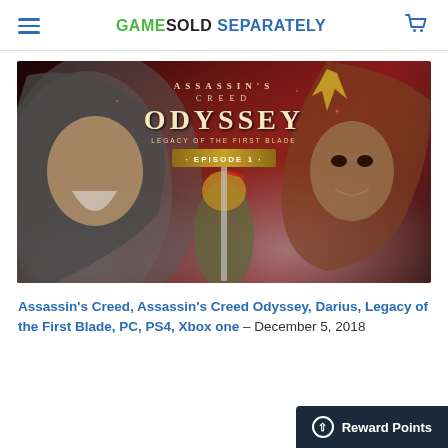GAMESOLD SEPARATELY
[Figure (photo): Assassin's Creed Odyssey Legacy of the First Blade Episode 1 promotional artwork showing an old hooded man on the left, a warrior in the center, and a gold-crowned menacing figure on the right against a dark red smoky background.]
Assassin's Creed, Assassin's Creed Odyssey, Darius, Legacy of the First Blade, PC, PS4, Xbox one - December 5, 2018